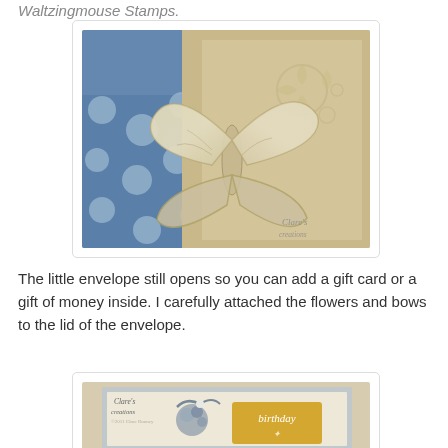Waltzingmouse Stamps.
[Figure (photo): A decorative butterfly made with metallic silver ink/embossing on a tan/kraft background, surrounded by blue polka-dot paper and floral stamped designs. Watermark reads 'Clare's creations'.]
The little envelope still opens so you can add a gift card or a gift of money inside. I carefully attached the flowers and bows to the lid of the envelope.
[Figure (photo): Close-up of a birthday card/envelope decoration with a rose and bow embellishment in blue/grey tones, a 'birthday' stamped label in gold, and decorative borders. Watermark reads 'Clare's creations'.]